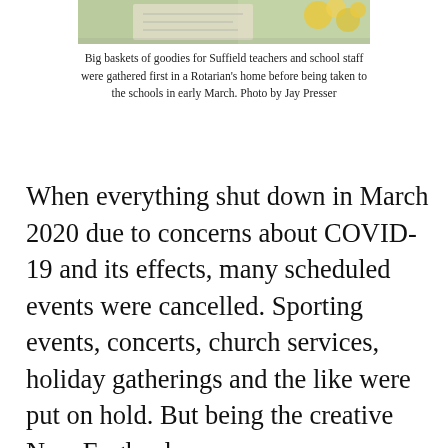[Figure (photo): Partial view of big baskets of goodies with floral decorations for Suffield teachers and school staff, showing handwritten notes and yellow flowers.]
Big baskets of goodies for Suffield teachers and school staff were gathered first in a Rotarian’s home before being taken to the schools in early March. Photo by Jay Presser
When everything shut down in March 2020 due to concerns about COVID-19 and its effects, many scheduled events were cancelled. Sporting events, concerts, church services, holiday gatherings and the like were put on hold. But being the creative New Englanders we are, modifications to include masks, social distancing, and curbing large group gatherings slowly helped us work on ways to be “connected” even though we might not be able to do things in-person. It’s been a lesson in patience, resilience, ingenuity, patience, adaptability...